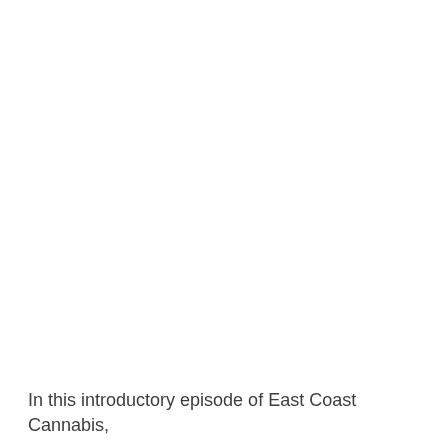In this introductory episode of East Coast Cannabis,